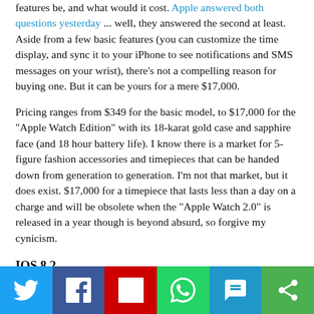features be, and what would it cost. Apple answered both questions yesterday ... well, they answered the second at least. Aside from a few basic features (you can customize the time display, and sync it to your iPhone to see notifications and SMS messages on your wrist), there's not a compelling reason for buying one. But it can be yours for a mere $17,000.
Pricing ranges from $349 for the basic model, to $17,000 for the "Apple Watch Edition" with its 18-karat gold case and sapphire face (and 18 hour battery life). I know there is a market for 5-figure fashion accessories and timepieces that can be handed down from generation to generation. I'm not that market, but it does exist. $17,000 for a timepiece that lasts less than a day on a charge and will be obsolete when the "Apple Watch 2.0" is released in a year though is beyond absurd, so forgive my cynicism.
IOS 8.2
[Figure (other): Social share bar with Twitter, Facebook, Flipboard, WhatsApp, SMS, and other share buttons]